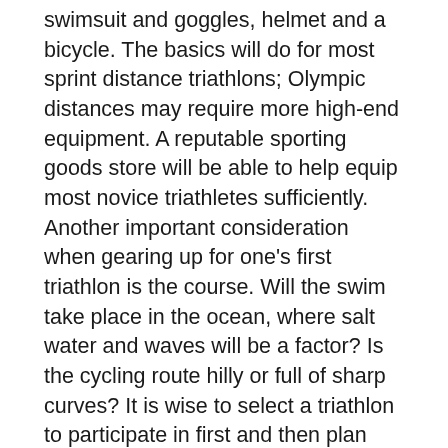swimsuit and goggles, helmet and a bicycle. The basics will do for most sprint distance triathlons; Olympic distances may require more high-end equipment. A reputable sporting goods store will be able to help equip most novice triathletes sufficiently. Another important consideration when gearing up for one's first triathlon is the course. Will the swim take place in the ocean, where salt water and waves will be a factor? Is the cycling route hilly or full of sharp curves? It is wise to select a triathlon to participate in first and then plan equipment purchases and training accordingly.
Motivation is a key element in successful triathlon training. Every triathlete needs something to sustain the long hours of training and to help push through the final miles on race day. Whatever the reason for embarking on this journey, hold on to that inspiration and accomplishment is sure to follow. Setting and reaching goals is also crucial. Goals should be substantial enough